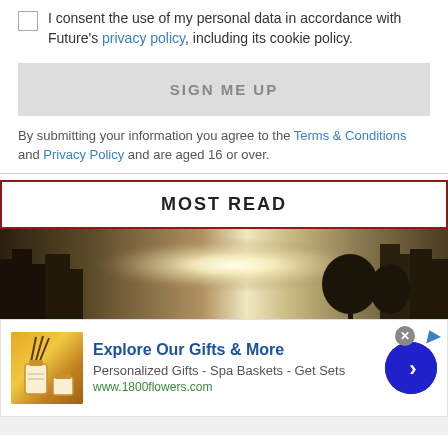I consent the use of my personal data in accordance with Future's privacy policy, including its cookie policy.
SIGN ME UP
By submitting your information you agree to the Terms & Conditions and Privacy Policy and are aged 16 or over.
MOST READ
[Figure (photo): City skyline with bright light/sun in background, dark silhouette of buildings and trees]
[Figure (infographic): Advertisement banner: Explore Our Gifts & More - Personalized Gifts - Spa Baskets - Get Sets - www.1800flowers.com, with gift product image and navigation arrow]